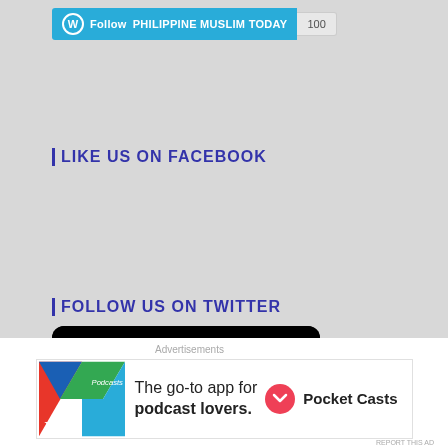[Figure (screenshot): WordPress Follow button for PHILIPPINE MUSLIM TODAY with follower count 100]
LIKE US ON FACEBOOK
FOLLOW US ON TWITTER
[Figure (screenshot): Twitter widget showing 'Tweets from @PhilippineMusl1' on dark background with avatar]
[Figure (screenshot): Pocket Casts advertisement: The go-to app for podcast lovers.]
Advertisements
REPORT THIS AD